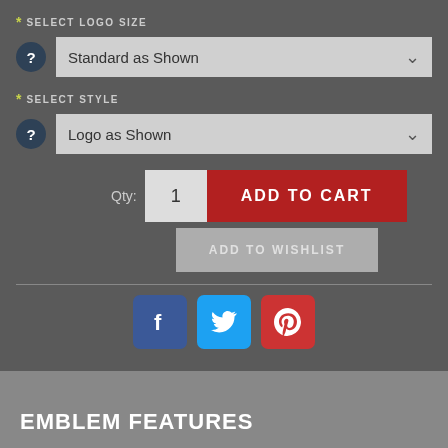* SELECT LOGO SIZE
Standard as Shown
* SELECT STYLE
Logo as Shown
Qty: 1
ADD TO CART
ADD TO WISHLIST
[Figure (other): Social media share buttons: Facebook (blue), Twitter (light blue), Pinterest (red)]
EMBLEM FEATURES